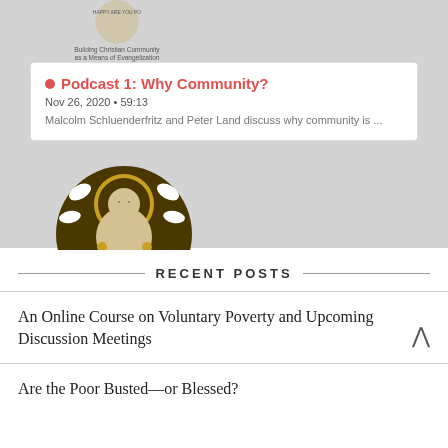[Figure (logo): Podcast logo - circular emblem with text 'HAPPY ARE YOU PO...' and subtitle 'Building Christian Community as a Means of Evangelization']
Podcast 1: Why Community?
Nov 26, 2020 • 59:13
Malcolm Schluenderfritz and Peter Land discuss why community is ...
[Figure (illustration): Circular religious illustration showing Jesus figure with halo surrounded by doves, in Byzantine style with gold and dark brown colors]
RECENT POSTS
An Online Course on Voluntary Poverty and Upcoming Discussion Meetings
Are the Poor Busted—or Blessed?